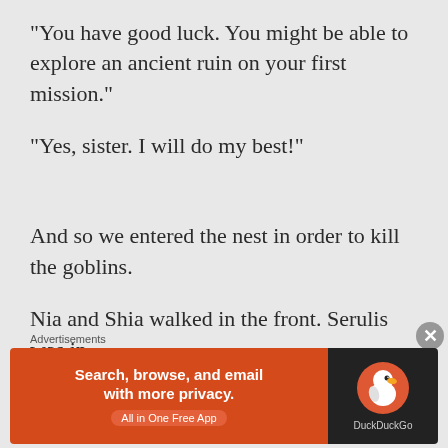“You have good luck. You might be able to explore an ancient ruin on your first mission.”
“Yes, sister. I will do my best!”
And so we entered the nest in order to kill the goblins.
Nia and Shia walked in the front. Serulis was in the middle. And Grulf and I took the rear
Advertisements
[Figure (infographic): DuckDuckGo advertisement banner: orange/red background on left with text 'Search, browse, and email with more privacy.' and 'All in One Free App' button; dark right panel with DuckDuckGo duck logo and 'DuckDuckGo' text]